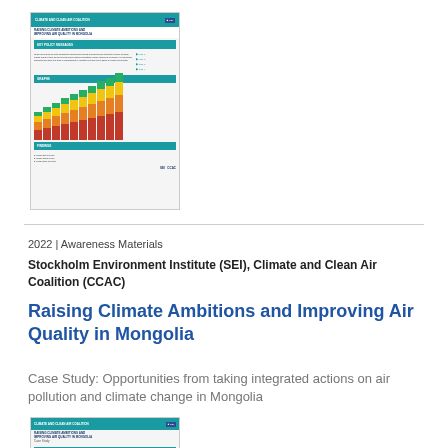[Figure (screenshot): Thumbnail image of a document titled 'Raising Climate Ambitions and Improving Air Quality in Mongolia' with teal header, body text, stacked bar chart, and logos]
2022 | Awareness Materials
Stockholm Environment Institute (SEI), Climate and Clean Air Coalition (CCAC)
Raising Climate Ambitions and Improving Air Quality in Mongolia
Case Study: Opportunities from taking integrated actions on air pollution and climate change in Mongolia
[Figure (screenshot): Partial thumbnail of the same document, showing only the top portion with teal header and title bar]